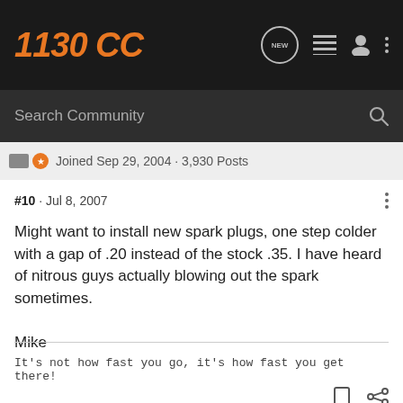1130 CC
Search Community
Joined Sep 29, 2004 · 3,930 Posts
#10 · Jul 8, 2007
Might want to install new spark plugs, one step colder with a gap of .20 instead of the stock .35. I have heard of nitrous guys actually blowing out the spark sometimes.

Mike
It's not how fast you go, it's how fast you get there!